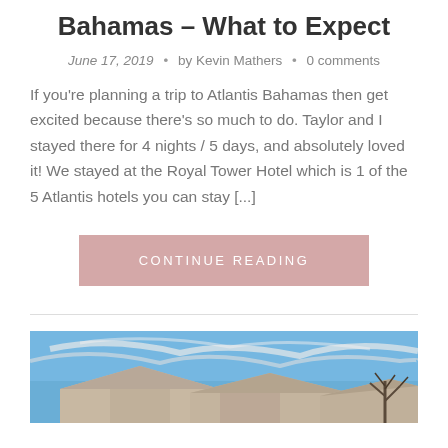Bahamas – What to Expect
June 17, 2019  •  by Kevin Mathers  •  0 comments
If you're planning a trip to Atlantis Bahamas then get excited because there's so much to do. Taylor and I stayed there for 4 nights / 5 days, and absolutely loved it! We stayed at the Royal Tower Hotel which is 1 of the 5 Atlantis hotels you can stay [...]
CONTINUE READING
[Figure (photo): Exterior of a house with rooftops visible against a blue sky with wispy white clouds and bare tree branches on the right side.]